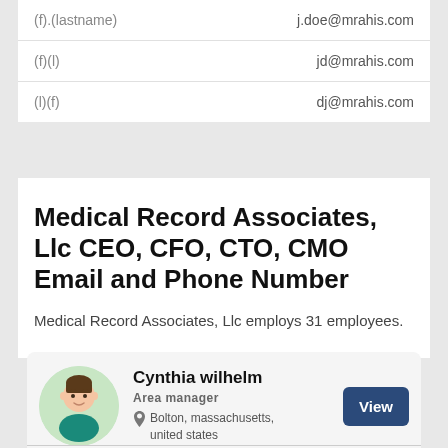| Pattern | Email |
| --- | --- |
| (f).(lastname) | j.doe@mrahis.com |
| (f)(l) | jd@mrahis.com |
| (l)(f) | dj@mrahis.com |
Medical Record Associates, Llc CEO, CFO, CTO, CMO Email and Phone Number
Medical Record Associates, Llc employs 31 employees.
[Figure (illustration): Profile card for Cynthia wilhelm, Area manager, Bolton, massachusetts, united states, with a View button and avatar illustration]